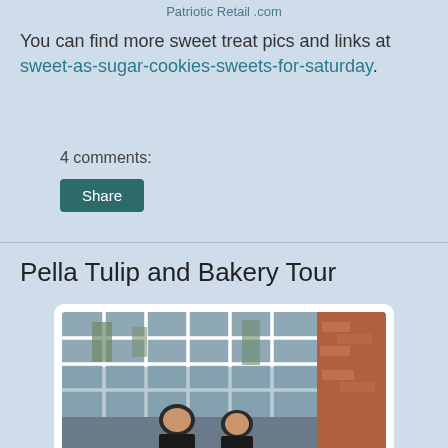Patriotic Retail .com
You can find more sweet treat pics and links at sweet-as-sugar-cookies-sweets-for-saturday.
4 comments:
Share
Pella Tulip and Bakery Tour
[Figure (photo): Two young boys standing in front of a large window with grid panes at a bakery, trees visible outside, brick wall on the right side]